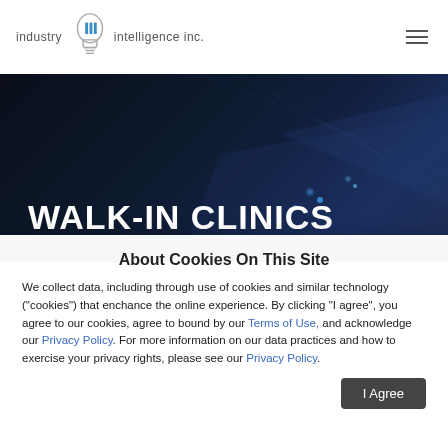industry iii intelligence inc.
WALK-IN CLINICS
About Cookies On This Site
We collect data, including through use of cookies and similar technology ("cookies") that enchance the online experience. By clicking "I agree", you agree to our cookies, agree to bound by our Terms of Use, and acknowledge our Privacy Policy. For more information on our data practices and how to exercise your privacy rights, please see our Privacy Policy.